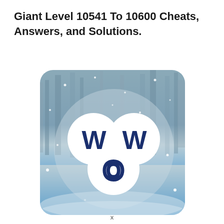Giant Level 10541 To 10600 Cheats, Answers, and Solutions.
[Figure (illustration): Words Of Wonders (WOW) game logo on a winter snowy forest background. Three overlapping white circles arranged in a triangular pattern on a translucent grey circle. Left upper circle contains bold dark navy letter 'W', right upper circle contains bold dark navy letter 'W', bottom circle contains bold dark navy letter 'O' with a hollow center ring. Background shows a blue and grey icy winter forest scene with snow particles.]
x